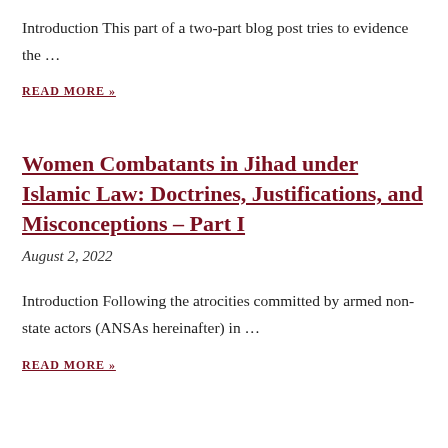Introduction This part of a two-part blog post tries to evidence the …
READ MORE »
Women Combatants in Jihad under Islamic Law: Doctrines, Justifications, and Misconceptions – Part I
August 2, 2022
Introduction  Following the atrocities committed by armed non-state actors (ANSAs hereinafter) in …
READ MORE »